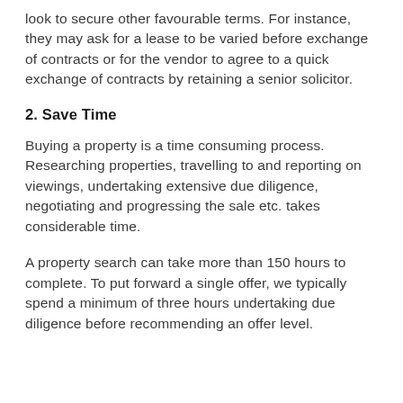look to secure other favourable terms. For instance, they may ask for a lease to be varied before exchange of contracts or for the vendor to agree to a quick exchange of contracts by retaining a senior solicitor.
2. Save Time
Buying a property is a time consuming process. Researching properties, travelling to and reporting on viewings, undertaking extensive due diligence, negotiating and progressing the sale etc. takes considerable time.
A property search can take more than 150 hours to complete. To put forward a single offer, we typically spend a minimum of three hours undertaking due diligence before recommending an offer level.